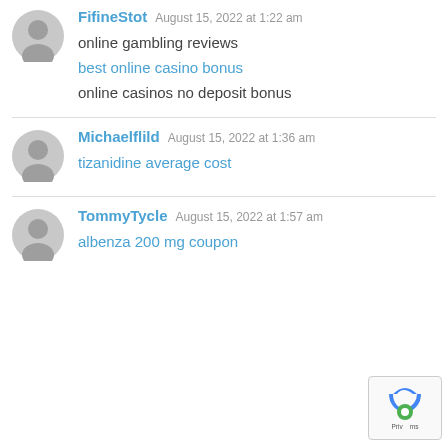FifineStot  August 15, 2022 at 1:22 am
online gambling reviews
best online casino bonus
online casinos no deposit bonus
Michaelflild  August 15, 2022 at 1:36 am
tizanidine average cost
TommyTycle  August 15, 2022 at 1:57 am
albenza 200 mg coupon